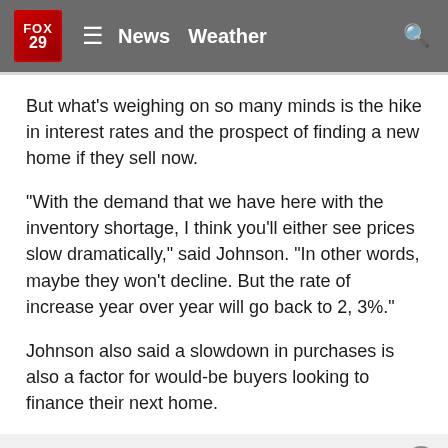FOX 29 — News  Weather
But what's weighing on so many minds is the hike in interest rates and the prospect of finding a new home if they sell now.
"With the demand that we have here with the inventory shortage, I think you'll either see prices slow dramatically," said Johnson. "In other words, maybe they won't decline. But the rate of increase year over year will go back to 2, 3%."
Johnson also said a slowdown in purchases is also a factor for would-be buyers looking to finance their next home.
"I mean, it's crazy," said Poss. "I'm imagining most people who are just looking for a home or getting married really